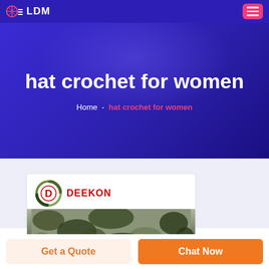LDM
hat crochet for women
Home - hat crochet for women
[Figure (logo): DEEKON brand logo with circular camouflage icon and red brand name text]
[Figure (photo): Camouflage military-style hat or fabric product image]
Get a Quote
Chat Now